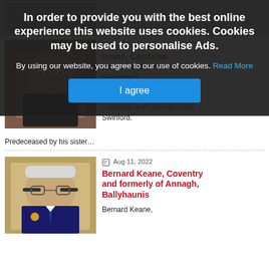In order to provide you with the best online experience this website uses cookies. Cookies may be used to personalise Ads.
By using our website, you agree to our use of cookies. Read More
I agree
irrane, Castlebar and Circular Road, Swinford
[Figure (photo): Portrait photo of Sean Kirrane, older man in dark shirt]
Sean Kirrane,
Castlebar and Circular Road, Swinford.
Predeceased by his sister…
Aug 11, 2022
Bernard Keane, Coventry and formerly of Annagh, Ballyhaunis
[Figure (photo): Portrait photo of Bernard Keane, older man with glasses in formal attire]
Bernard Keane,